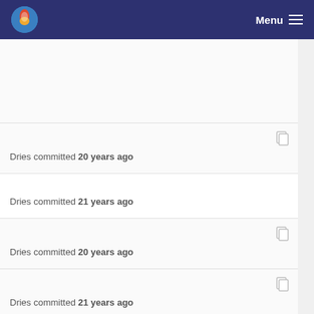Menu
Dries committed 20 years ago
Dries committed 21 years ago
Dries committed 20 years ago
Dries committed 21 years ago
Dries committed 21 years ago